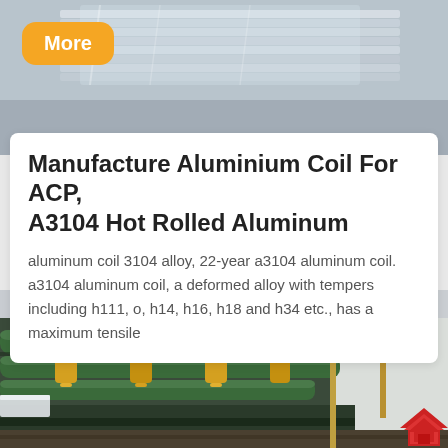[Figure (photo): Top banner photo of aluminum/metal sheets stacked, grey tones]
More
Manufacture Aluminium Coil For ACP, A3104 Hot Rolled Aluminum
aluminum coil 3104 alloy, 22-year a3104 aluminum coil. a3104 aluminum coil, a deformed alloy with tempers including h111, o, h14, h16, h18 and h34 etc., has a maximum tensile
[Figure (photo): Industrial aluminum hot rolling mill machinery with green and yellow equipment inside a large factory building]